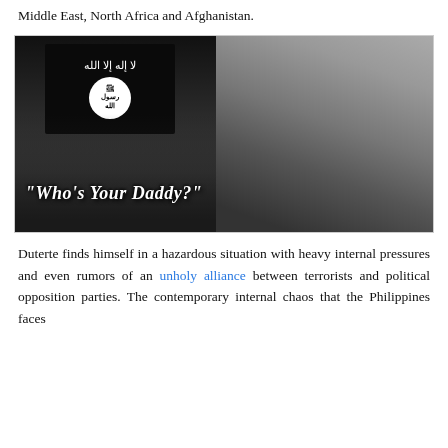Middle East, North Africa and Afghanistan.
[Figure (photo): Composite black and white image showing ISIS flag bearers on the left and a man's face (resembling Barack Obama) on the right, with the bold italic overlay text: "Who's Your Daddy?"]
Duterte finds himself in a hazardous situation with heavy internal pressures and even rumors of an unholy alliance between terrorists and political opposition parties. The contemporary internal chaos that the Philippines faces